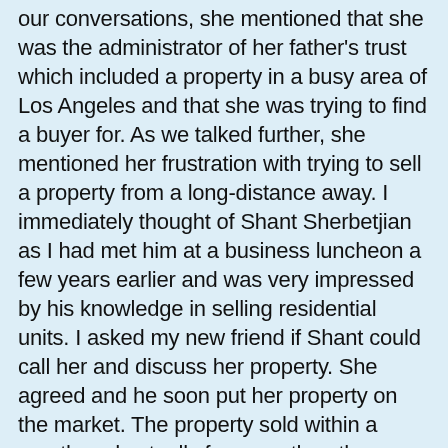our conversations, she mentioned that she was the administrator of her father's trust which included a property in a busy area of Los Angeles and that she was trying to find a buyer for. As we talked further, she mentioned her frustration with trying to sell a property from a long-distance away. I immediately thought of Shant Sherbetjian as I had met him at a business luncheon a few years earlier and was very impressed by his knowledge in selling residential units. I asked my new friend if Shant could call her and discuss her property. She agreed and he soon put her property on the market. The property sold within a month and actually for more than the asking price. Mrs. Blodgett was very happy with my recommendation.